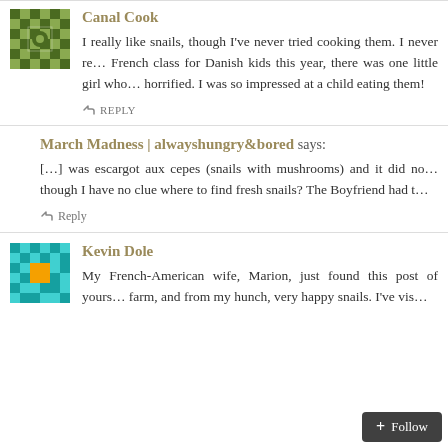Canal Cook
I really like snails, though I've never tried cooking them. I never re… French class for Danish kids this year, there was one little girl who… horrified. I was so impressed at a child eating them!
↩ REPLY
March Madness | alwayshungry&bored says:
[…] was escargot aux cepes (snails with mushrooms) and it did no… though I have no clue where to find fresh snails? The Boyfriend had t…
↩ Reply
Kevin Dole
My French-American wife, Marion, just found this post of yours… farm, and from my hunch, very happy snails. I've vis…